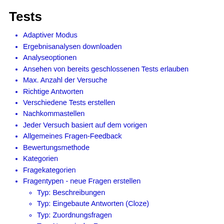Tests
Adaptiver Modus
Ergebnisanalysen downloaden
Analyseoptionen
Ansehen von bereits geschlossenen Tests erlauben
Max. Anzahl der Versuche
Richtige Antworten
Verschiedene Tests erstellen
Nachkommastellen
Jeder Versuch basiert auf dem vorigen
Allgemeines Fragen-Feedback
Bewertungsmethode
Kategorien
Fragekategorien
Fragentypen - neue Fragen erstellen
Typ: Beschreibungen
Typ: Eingebaute Antworten (Cloze)
Typ: Zuordnungsfragen
Typ: Numerische Fragen
Typ: Berechnungsfragen
Typ: Wahr-Falsch-Fragen
Typ: Freitext-Fragen
Typ: Kurzantwort-Fragen
Typ: Multiple-Choice-Fragen